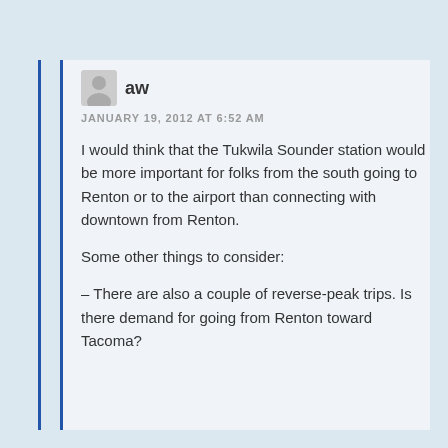[Figure (illustration): User avatar icon (silhouette of a person in gray) next to username 'aw']
JANUARY 19, 2012 AT 6:52 AM
I would think that the Tukwila Sounder station would be more important for folks from the south going to Renton or to the airport than connecting with downtown from Renton.
Some other things to consider:
– There are also a couple of reverse-peak trips. Is there demand for going from Renton toward Tacoma?